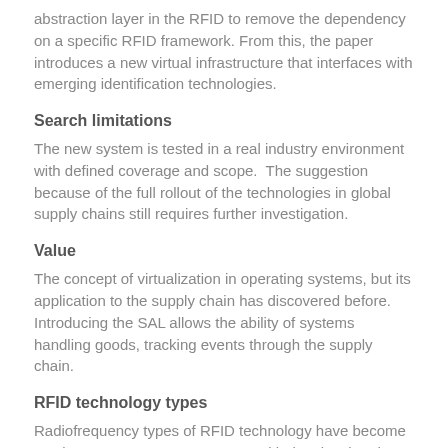abstraction layer in the RFID to remove the dependency on a specific RFID framework. From this, the paper introduces a new virtual infrastructure that interfaces with emerging identification technologies.
Search limitations
The new system is tested in a real industry environment with defined coverage and scope.  The suggestion because of the full rollout of the technologies in global supply chains still requires further investigation.
Value
The concept of virtualization in operating systems, but its application to the supply chain has discovered before. Introducing the SAL allows the ability of systems handling goods, tracking events through the supply chain.
RFID technology types
Radiofrequency types of RFID technology have become much more common across several industries, but there is a variety